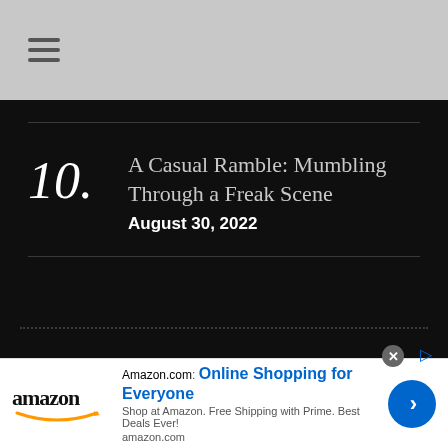☰
10. A Casual Ramble: Mumbling Through a Freak Scene — August 30, 2022
[Figure (other): Amazon advertisement banner with logo, headline 'Amazon.com: Online Shopping for Everyone', subtext 'Shop at Amazon. Free Shipping with Prime. Best Deals Ever!', and a blue call-to-action button with right arrow]